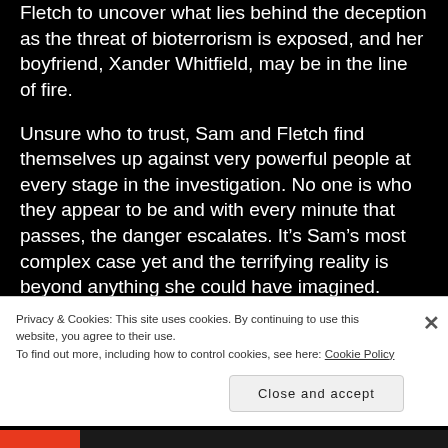Fletch to uncover what lies behind the deception as the threat of bioterrorism is exposed, and her boyfriend, Xander Whitfield, may be in the line of fire.
Unsure who to trust, Sam and Fletch find themselves up against very powerful people at every stage in the investigation. No one is who they appear to be and with every minute that passes, the danger escalates. It’s Sam’s most complex case yet and the terrifying reality is beyond anything she could have imagined.
Toni Dwiggins’ Skeleton Sea (Released on 5/19/15)
Privacy & Cookies: This site uses cookies. By continuing to use this website, you agree to their use.
To find out more, including how to control cookies, see here: Cookie Policy